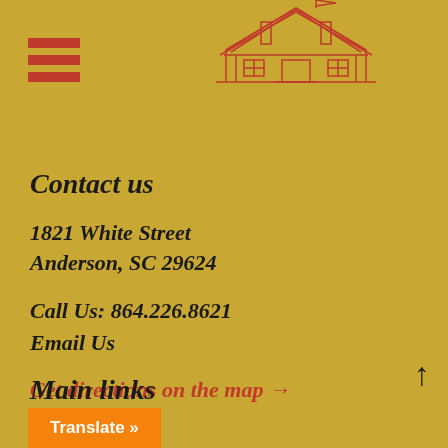[Figure (logo): Red line drawing illustration of a building/house structure, appearing as a logo at the top center of the page]
Contact us
1821 White Street
Anderson, SC 29624
Call Us: 864.226.8621
Email Us
Get directions on the map →
Main links